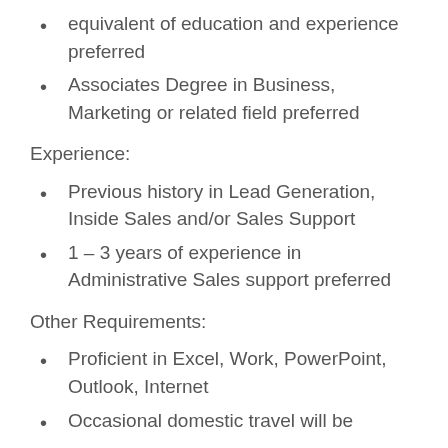equivalent of education and experience preferred
Associates Degree in Business, Marketing or related field preferred
Experience:
Previous history in Lead Generation, Inside Sales and/or Sales Support
1 – 3 years of experience in Administrative Sales support preferred
Other Requirements:
Proficient in Excel, Work, PowerPoint, Outlook, Internet
Occasional domestic travel will be